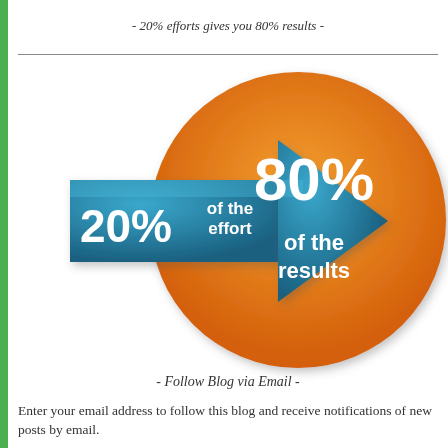- 20% efforts gives you 80% results -
[Figure (infographic): Pareto principle infographic: a blue 3D arrow labeled '20% of the effort' pointing right into an orange circle labeled '80% of the results', illustrating the 80/20 rule.]
- Follow Blog via Email -
Enter your email address to follow this blog and receive notifications of new posts by email.